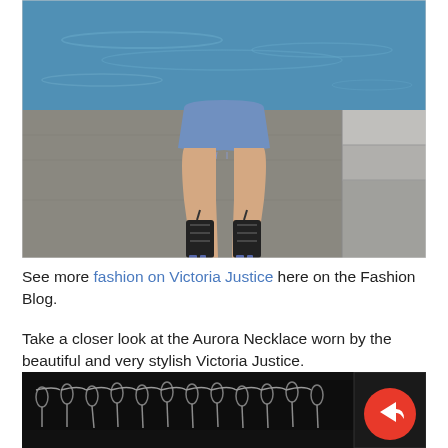[Figure (photo): Photo showing legs of a person wearing denim cutoff shorts and black strappy high-heeled sandals, standing near a pool or waterfront with stone/concrete steps visible. Another person is partially visible on the right side.]
See more fashion on Victoria Justice here on the Fashion Blog.
Take a closer look at the Aurora Necklace worn by the beautiful and very stylish Victoria Justice.
[Figure (photo): Close-up photo of an Aurora Necklace with silver chain and decorative elements against a black background. A share button (red circular icon with arrow) is overlaid in the bottom right corner.]